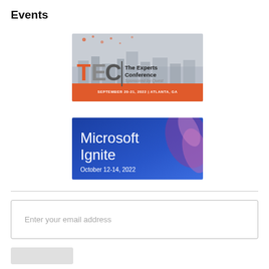Events
[Figure (illustration): TEC - The Experts Conference banner, sponsored by Quest. September 20-21, 2022 | Atlanta, GA. Orange and grey logo with city skyline background.]
[Figure (illustration): Microsoft Ignite event banner. Blue gradient background with decorative element. October 12-14, 2022.]
Enter your email address